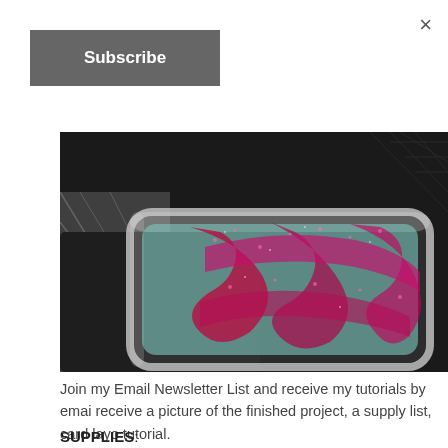×
Subscribe
[Figure (photo): Close-up photo of a decorative phone case with a silver metallic frame and pink glitter ornamental design on a dark background with textile texture visible in the lower left corner.]
Join my Email Newsletter List and receive my tutorials by email. receive a picture of the finished project, a supply list, card layo tutorial.
SUPPLIES: